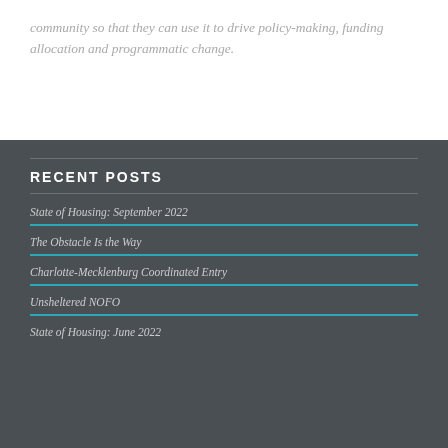community so that they can use it to drive policy-making, funding allocation and programmatic change.
RECENT POSTS
State of Housing: September 2022
The Obstacle Is the Way
Charlotte-Mecklenburg Coordinated Entry
Unsheltered NOFO
State of Housing: June 2022